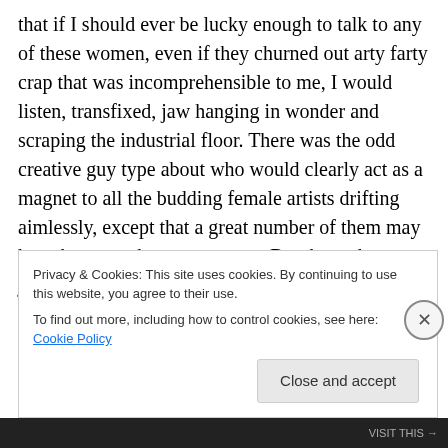that if I should ever be lucky enough to talk to any of these women, even if they churned out arty farty crap that was incomprehensible to me, I would listen, transfixed, jaw hanging in wonder and scraping the industrial floor. There was the odd creative guy type about who would clearly act as a magnet to all the budding female artists drifting aimlessly, except that a great number of them may have been gay by appearances. But then who can judge by appearances alone? Artists perhaps. Anyway needless to say I did not speak to any of these wonders, these fine specimens, these art drugged creatures, I simply
Privacy & Cookies: This site uses cookies. By continuing to use this website, you agree to their use.
To find out more, including how to control cookies, see here: Cookie Policy
Close and accept
VISIT THIS →